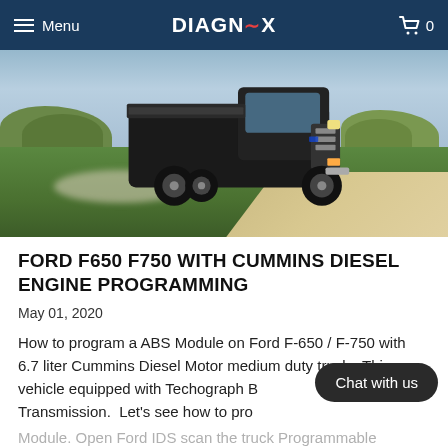Menu | DIAGNOX | 0
[Figure (photo): Ford F-650 or F-750 heavy duty truck driving on a road through a green field with trees in the background and overcast sky]
FORD F650 F750 WITH CUMMINS DIESEL ENGINE PROGRAMMING
May 01, 2020
How to program a ABS Module on Ford F-650 / F-750 with 6.7 liter Cummins Diesel Motor medium duty truck.  This vehicle equipped with Techograph B... n MD Transmission.  Let's see how to pro... Module. Open Ford IDS scan the truck Programmable